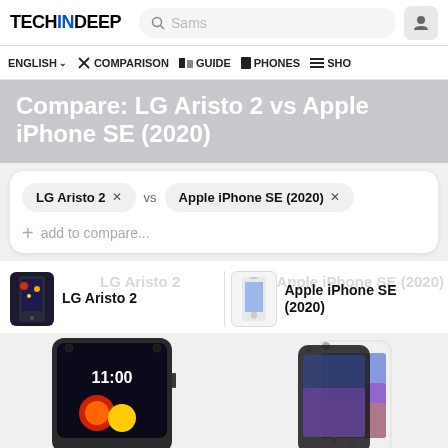TECHINDEEP — Search: Sams
ENGLISH | COMPARISON | GUIDE | PHONES | SHO
Compare: LG Aristo 2 vs Apple iPhone SE (2020)
LG Aristo 2 × vs Apple iPhone SE (2020) × + add to compare...
[Figure (screenshot): Comparison header showing LG Aristo 2 and Apple iPhone SE (2020) device thumbnails with names, and phone images below]
LG Aristo 2
Apple iPhone SE (2020)